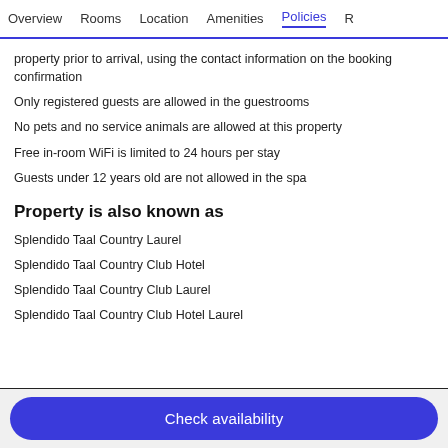Overview   Rooms   Location   Amenities   Policies   R
property prior to arrival, using the contact information on the booking confirmation
Only registered guests are allowed in the guestrooms
No pets and no service animals are allowed at this property
Free in-room WiFi is limited to 24 hours per stay
Guests under 12 years old are not allowed in the spa
Property is also known as
Splendido Taal Country Laurel
Splendido Taal Country Club Hotel
Splendido Taal Country Club Laurel
Splendido Taal Country Club Hotel Laurel
Check availability